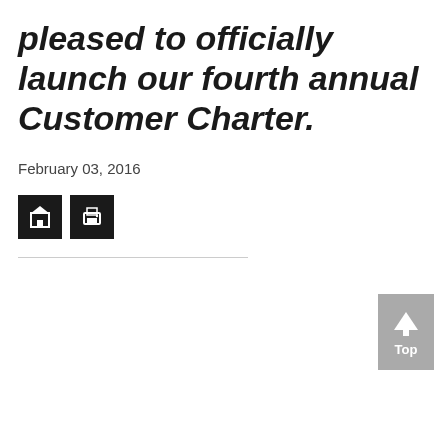pleased to officially launch our fourth annual Customer Charter.
February 03, 2016
[Figure (other): Two dark square icon buttons: a home/document icon button and a printer icon button]
[Figure (other): Gray 'Top' button with upward arrow, positioned at bottom right corner]